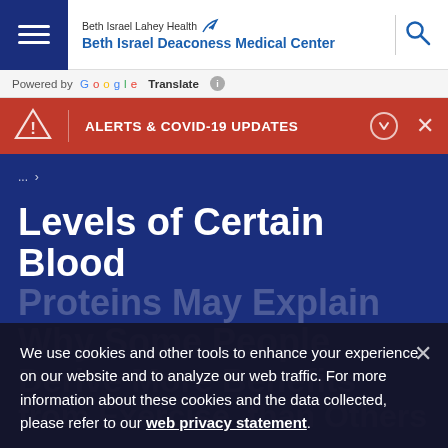Beth Israel Lahey Health Beth Israel Deaconess Medical Center
Powered by Google Translate
ALERTS & COVID-19 UPDATES
Levels of Certain Blood Proteins May Explain Why Some People Derive More Benefits from Exercise than Others
We use cookies and other tools to enhance your experience on our website and to analyze our web traffic. For more information about these cookies and the data collected, please refer to our web privacy statement.